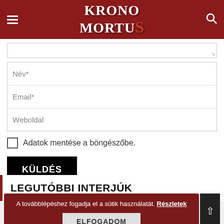KRONO MORTUS
[Figure (screenshot): Form with Név*, Email*, Weboldal input fields, checkbox 'Adatok mentése a böngészőbe.', and KÜLDÉS submit button]
LEGUTÓBBI INTERJÚK
A továbblépéshez fogadja el a sütik használatát. Részletek
ELFOGADOM
Heart Attack interjú
Hulla interjú